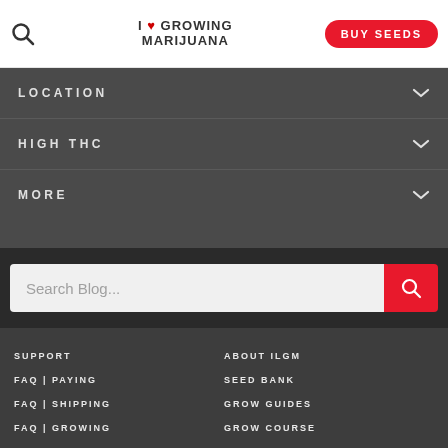I ❤ GROWING MARIJUANA | BUY SEEDS
LOCATION
HIGH THC
MORE
Search Blog...
SUPPORT
FAQ | PAYING
FAQ | SHIPPING
FAQ | GROWING
JUST STARTING
ABOUT ILGM
SEED BANK
GROW GUIDES
GROW COURSE
GROW FORUM